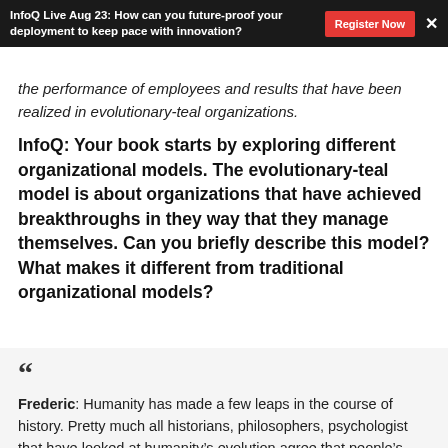InfoQ Live Aug 23: How can you future-proof your deployment to keep pace with innovation?
the performance of employees and results that have been realized in evolutionary-teal organizations.
InfoQ: Your book starts by exploring different organizational models. The evolutionary-teal model is about organizations that have achieved breakthroughs in they way that they manage themselves. Can you briefly describe this model? What makes it different from traditional organizational models?
Frederic: Humanity has made a few leaps in the course of history. Pretty much all historians, philosophers, psychologist that have looked at humanity's evolution agree that people's